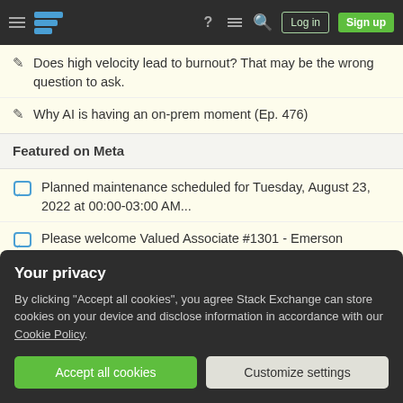Stack Exchange navigation bar with Log in and Sign up buttons
Does high velocity lead to burnout? That may be the wrong question to ask.
Why AI is having an on-prem moment (Ep. 476)
Featured on Meta
Planned maintenance scheduled for Tuesday, August 23, 2022 at 00:00-03:00 AM...
Please welcome Valued Associate #1301 - Emerson
Upcoming Events
Your privacy
By clicking "Accept all cookies", you agree Stack Exchange can store cookies on your device and disclose information in accordance with our Cookie Policy.
Accept all cookies
Customize settings